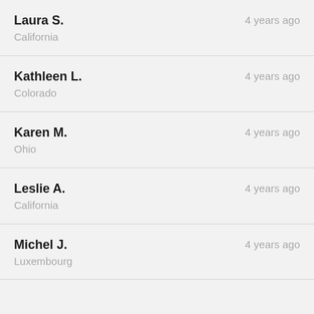Laura S. | California | 4 years ago
Kathleen L. | Colorado | 4 years ago
Karen M. | Ohio | 4 years ago
Leslie A. | California | 4 years ago
Michel J. | Luxembourg | 4 years ago